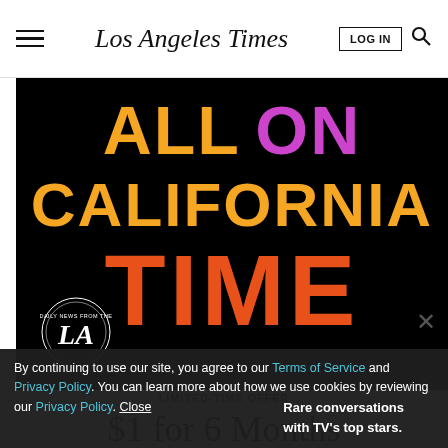Los Angeles Times
[Figure (other): Los Angeles Times promotional advertisement on black background with text: ALL ON CALIFORNIA TIME in orange, purple, and orange colors, with LA globe logo in bottom left]
LIMITED-TIME OFFER
$1 for 6 Months
SUBSCRIBE NOW
By continuing to use our site, you agree to our Terms of Service and Privacy Policy. You can learn more about how we use cookies by reviewing our Privacy Policy. Close
Rare conversations with TV's top stars.